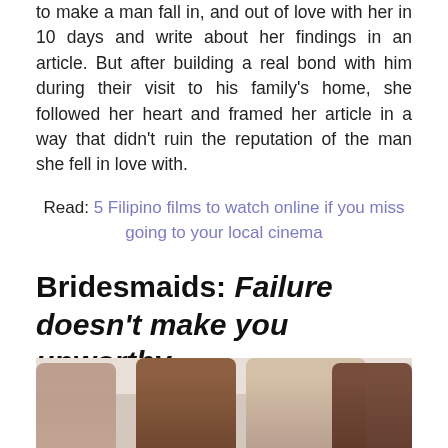to make a man fall in, and out of love with her in 10 days and write about her findings in an article. But after building a real bond with him during their visit to his family's home, she followed her heart and framed her article in a way that didn't ruin the reputation of the man she fell in love with.
Read: 5 Filipino films to watch online if you miss going to your local cinema
Bridesmaids: Failure doesn't make you unworthy
[Figure (photo): Scene from the movie Bridesmaids showing three women in a bridal shop looking at a mannequin dressed in a light blue/mint garment. Women have varied expressions of surprise and amusement.]